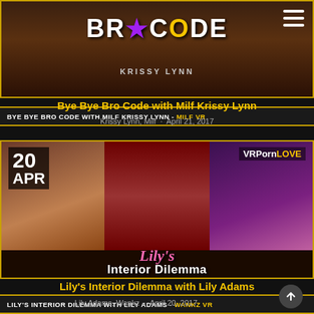[Figure (photo): Bye Bye Bro Code with Milf Krissy Lynn banner image with BRO CODE logo]
BYE BYE BRO CODE WITH MILF KRISSY LYNN - MILF VR
Bye Bye Bro Code with Milf Krissy Lynn
Krissy Lynn, Milf · April 21, 2017
[Figure (photo): Lily's Interior Dilemma with Lily Adams promotional banner, VRPornLOVE, 20 APR badge]
LILY'S INTERIOR DILEMMA WITH LILY ADAMS - WANKZ VR
Lily's Interior Dilemma with Lily Adams
Lily Adams, Wankz · April 20, 2017